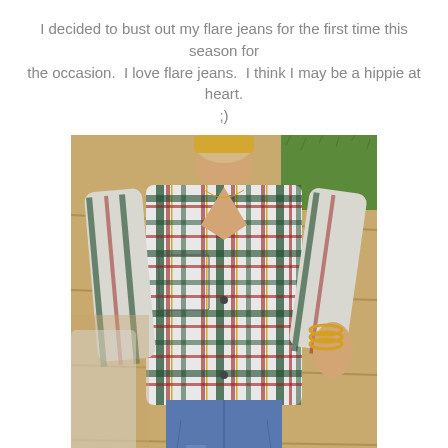I decided to bust out my flare jeans for the first time this season for the occasion.  I love flare jeans.  I think I may be a hippie at heart. ;)
[Figure (photo): A woman wearing a plaid flannel shirt (white, red, green, black tartan pattern) and blue flare jeans, standing on a stone tile patio. She is wearing gold bangles and a delicate necklace. Green grass is visible in the background. The photo is taken from a slightly overhead angle.]